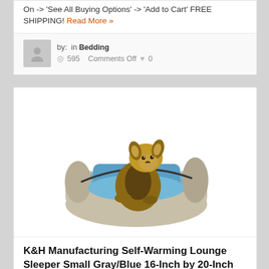On -> 'See All Buying Options' -> 'Add to Cart' FREE SHIPPING! Read More »
by: in Bedding  595  Comments Off  0
[Figure (photo): A small Yorkshire Terrier dog sitting inside a K&H Manufacturing Self-Warming Lounge Sleeper pet bed in gray/blue colors]
K&H Manufacturing Self-Warming Lounge Sleeper Small Gray/Blue 16-Inch by 20-Inch